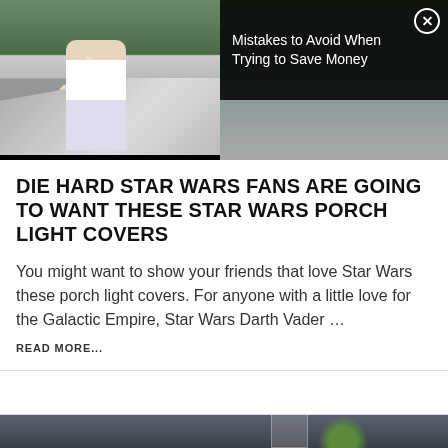[Figure (photo): Woman standing next to a car with hood open, looking distressed, talking on phone. Advertisement overlay reads 'Mistakes to Avoid When Trying to Save Money' with close button.]
DIE HARD STAR WARS FANS ARE GOING TO WANT THESE STAR WARS PORCH LIGHT COVERS
You might want to show your friends that love Star Wars these porch light covers. For anyone with a little love for the Galactic Empire, Star Wars Darth Vader …
READ MORE...
[Figure (photo): Partial bottom image visible, appears to be an outdoor scene with dark fence/wall and some greenery.]